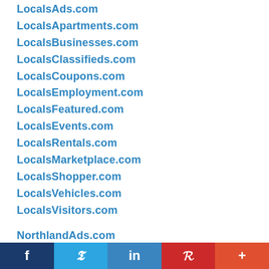LocalsAds.com
LocalsApartments.com
LocalsBusinesses.com
LocalsClassifieds.com
LocalsCoupons.com
LocalsEmployment.com
LocalsFeatured.com
LocalsEvents.com
LocalsRentals.com
LocalsMarketplace.com
LocalsShopper.com
LocalsVehicles.com
LocalsVisitors.com
NorthlandAds.com
NorthlandApartments.com
NorthlandBusinesses.com
f  Twitter  in  P  +